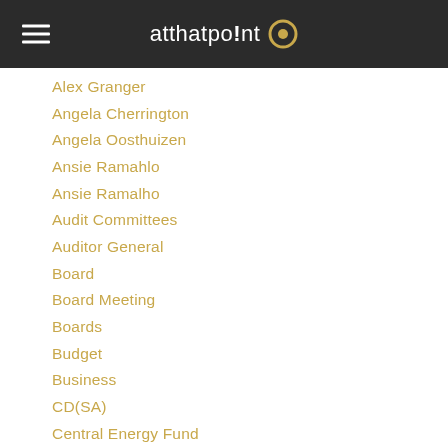atthatpo!nt
Alex Granger
Angela Cherrington
Angela Oosthuizen
Ansie Ramahlo
Ansie Ramalho
Audit Committees
Auditor General
Board
Board Meeting
Boards
Budget
Business
CD(SA)
Central Energy Fund
CEO
CEO Tenure
Certified Director
Chairman
Chartered Director